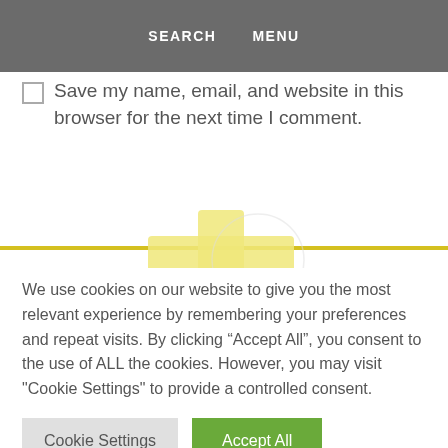SEARCH   MENU
Save my name, email, and website in this browser for the next time I comment.
[Figure (illustration): Yellow plus/cross icon centered on a yellow horizontal divider line]
We use cookies on our website to give you the most relevant experience by remembering your preferences and repeat visits. By clicking “Accept All”, you consent to the use of ALL the cookies. However, you may visit "Cookie Settings" to provide a controlled consent.
Cookie Settings   Accept All